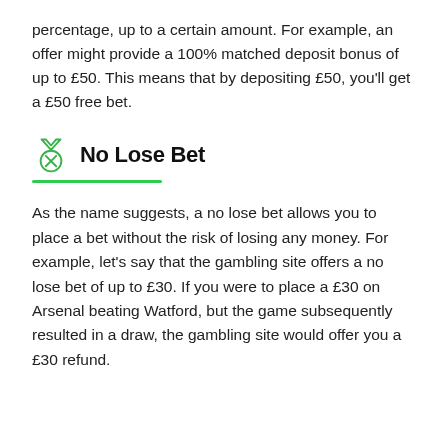percentage, up to a certain amount. For example, an offer might provide a 100% matched deposit bonus of up to £50. This means that by depositing £50, you'll get a £50 free bet.
No Lose Bet
As the name suggests, a no lose bet allows you to place a bet without the risk of losing any money. For example, let's say that the gambling site offers a no lose bet of up to £30. If you were to place a £30 on Arsenal beating Watford, but the game subsequently resulted in a draw, the gambling site would offer you a £30 refund.